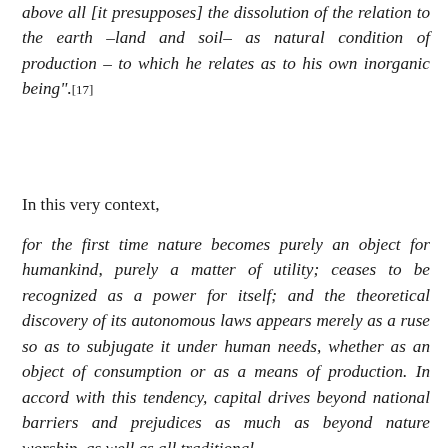above all [it presupposes] the dissolution of the relation to the earth –land and soil– as natural condition of production – to which he relates as to his own inorganic being".[17]
In this very context,
for the first time nature becomes purely an object for humankind, purely a matter of utility; ceases to be recognized as a power for itself; and the theoretical discovery of its autonomous laws appears merely as a ruse so as to subjugate it under human needs, whether as an object of consumption or as a means of production. In accord with this tendency, capital drives beyond national barriers and prejudices as much as beyond nature worship, as well as all traditional,